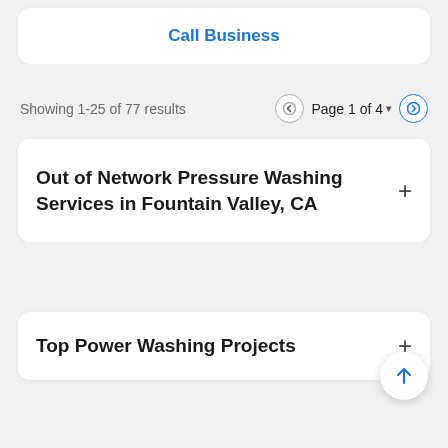Call Business
Showing 1-25 of 77 results   Page 1 of 4
Out of Network Pressure Washing Services in Fountain Valley, CA
Top Power Washing Projects